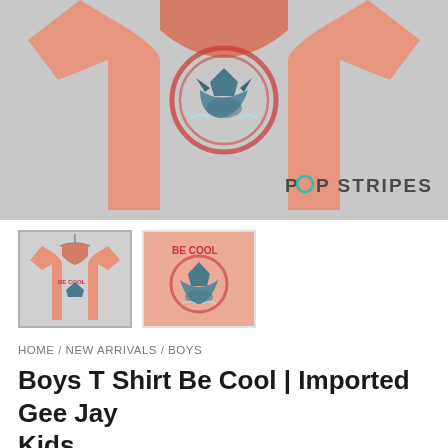[Figure (photo): Main product photo of a salmon/peach colored boys t-shirt with a shark 'Be Cool' graphic, displayed on a light gray background. POP STRIPES watermark in bottom right.]
[Figure (photo): Thumbnail 1: full t-shirt view on hanger, salmon/peach color with Be Cool shark graphic]
[Figure (photo): Thumbnail 2: close-up of Be Cool shark graphic on peach t-shirt]
HOME / NEW ARRIVALS / BOYS
Boys T Shirt Be Cool | Imported Gee Jay Kids